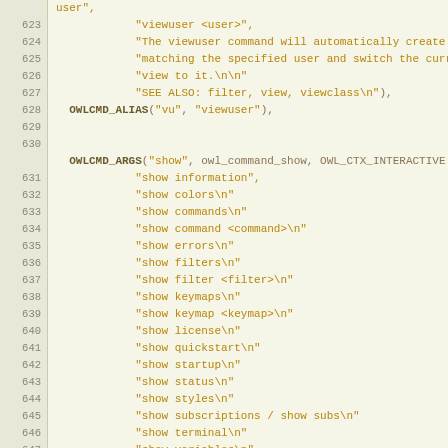Source code listing lines 623-651, C code with OWLCMD macros